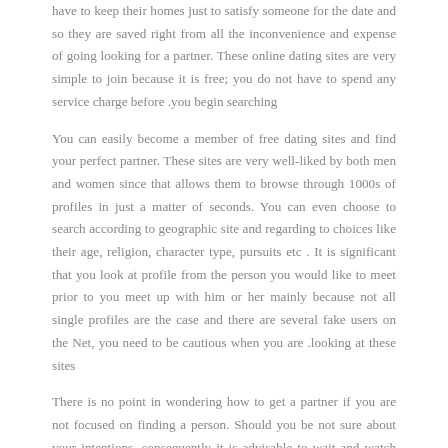have to keep their homes just to satisfy someone for the date and so they are saved right from all the inconvenience and expense of going looking for a partner. These online dating sites are very simple to join because it is free; you do not have to spend any service charge before .you begin searching
You can easily become a member of free dating sites and find your perfect partner. These sites are very well-liked by both men and women since that allows them to browse through 1000s of profiles in just a matter of seconds. You can even choose to search according to geographic site and regarding to choices like their age, religion, character type, pursuits etc . It is significant that you look at profile from the person you would like to meet prior to you meet up with him or her mainly because not all single profiles are the case and there are several fake users on the Net, you need to be cautious when you are .looking at these sites
There is no point in wondering how to get a partner if you are not focused on finding a person. Should you be not sure about your intentions, consequently it is advisable to wait and watch how connections develop over a period of time. Once you find the person who may be right for you, you cannot find any point in trying to look